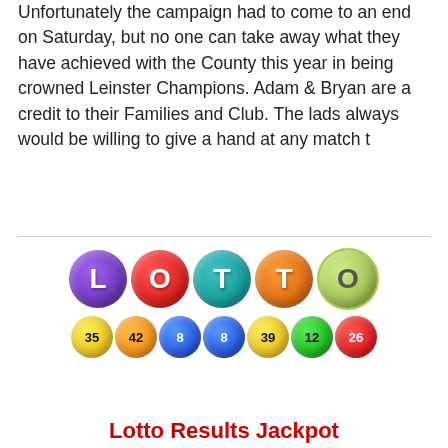Unfortunately the campaign had to come to an end on Saturday, but no one can take away what they have achieved with the County this year in being crowned Leinster Champions. Adam & Bryan are a credit to their Families and Club. The lads always would be willing to give a hand at any match t
[Figure (illustration): LOTTO logo made of coloured balls spelling L-O-T-T-O, with a row of numbered lottery balls below (35, 42, 8, 39, 12, 26)]
Lotto Results Jackpot